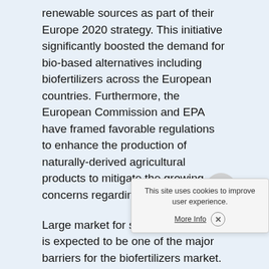renewable sources as part of their Europe 2020 strategy. This initiative significantly boosted the demand for bio-based alternatives including biofertilizers across the European countries. Furthermore, the European Commission and EPA have framed favorable regulations to enhance the production of naturally-derived agricultural products to mitigate the growing concerns regarding GHG emissions.
Large market for synthetic fertilizers is expected to be one of the major barriers for the biofertilizers market. Synthetic fertilizers are substances that are applied to the soil to increase quality and yield in crops, especially during unfavorable harsh weather conditions. They are water-soluble and easily absorbed by plants. They are fast-acting and available in various forms including pellets, liquid, granules, and spikes. ... of natural gas and crude oil ... expected to fuel the growth ...